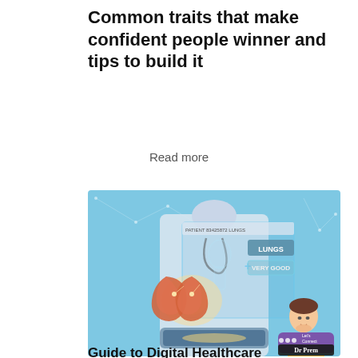Common traits that make confident people winner and tips to build it
Read more
[Figure (photo): A doctor in a white coat holds a tablet displaying a holographic medical interface showing lungs labeled 'LUNGS' with status 'VERY GOOD'. An orange 3D lung model floats in the foreground. A cartoon avatar and 'Dr Prem - Let's Connect' chat bubble logo appear in the bottom right corner.]
Guide to Digital Healthcare